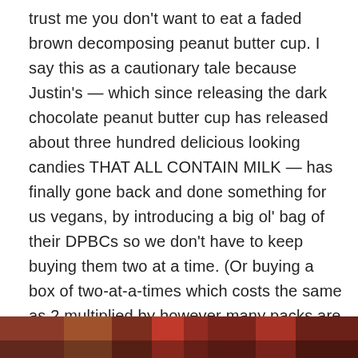trust me you don't want to eat a faded brown decomposing peanut butter cup. I say this as a cautionary tale because Justin's — which since releasing the dark chocolate peanut butter cup has released about three hundred delicious looking candies THAT ALL CONTAIN MILK — has finally gone back and done something for us vegans, by introducing a big ol' bag of their DPBCs so we don't have to keep buying them two at a time. (Or buying a box of two-at-a-times which costs the same as 2 multiplied by however many packs are in the box.) Now I didn't ask how much of a discount the big bag will provide, but I hope it's substantial. And I also hope they find another way to market these in March besides Halloween, because the only thing scary about these peanut butter cups is what my LDL is going to be after eating a whole bag.
[Figure (photo): Bottom strip showing a partial image, dark reddish-brown tones, appears to be a food/product photo partially visible at the bottom of the page.]